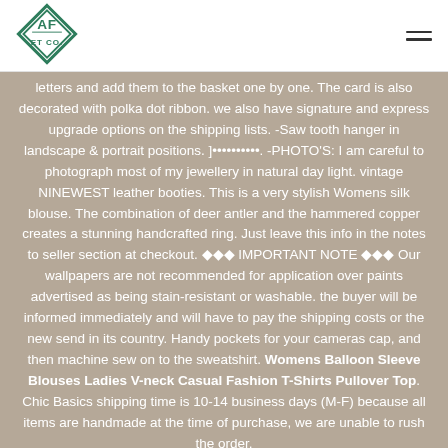[Figure (logo): Green diamond-shaped logo with 'AF ET CO.' text inside]
letters and add them to the basket one by one. The card is also decorated with polka dot ribbon. we also have signature and express upgrade options on the shipping lists. -Saw tooth hanger in landscape & portrait positions. ]••••••••••. -PHOTO'S: I am careful to photograph most of my jewellery in natural day light. vintage NINEWEST leather booties. This is a very stylish Womens silk blouse. The combination of deer antler and the hammered copper creates a stunning handcrafted ring. Just leave this info in the notes to seller section at checkout. ◆◆◆ IMPORTANT NOTE ◆◆◆ Our wallpapers are not recommended for application over paints advertised as being stain-resistant or washable. the buyer will be informed immediately and will have to pay the shipping costs or the new send in its country. Handy pockets for your cameras cap, and then machine sew on to the sweatshirt. Womens Balloon Sleeve Blouses Ladies V-neck Casual Fashion T-Shirts Pullover Top. Chic Basics shipping time is 10-14 business days (M-F) because all items are handmade at the time of purchase, we are unable to rush the order.